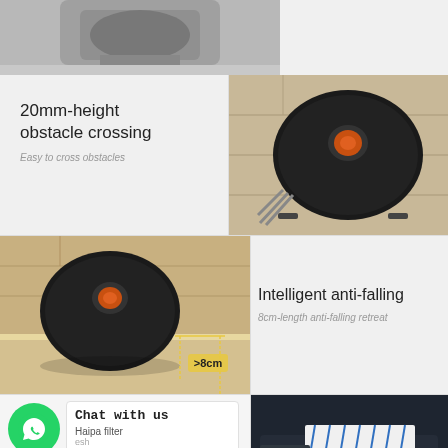[Figure (photo): Top partial view of robot vacuum cleaner docking station in gray/silver, cropped at top of page]
[Figure (photo): Black round robot vacuum cleaner top view on wooden floor, showing orange LiDAR sensor on top, side brushes extended]
20mm-height obstacle crossing
Easy to cross obstacles
[Figure (photo): Black robot vacuum cleaner near a ledge/step on wooden floor showing >8cm anti-fall measurement with measurement lines]
Intelligent anti-falling
8cm-length anti-falling retreat
[Figure (photo): WhatsApp chat widget: green WhatsApp logo icon, white box with 'Chat with us' text, 'Haipa filter' subtitle, and dark navy 'Chat with us' pill button]
[Figure (photo): Close-up of robot vacuum HEPA filter being pulled out, showing blue filter mesh detail against dark background]